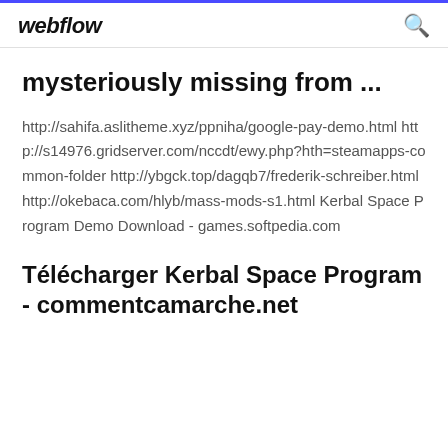webflow
mysteriously missing from ...
http://sahifa.aslitheme.xyz/ppniha/google-pay-demo.html http://s14976.gridserver.com/nccdt/ewy.php?hth=steamapps-common-folder http://ybgck.top/dagqb7/frederik-schreiber.html http://okebaca.com/hlyb/mass-mods-s1.html Kerbal Space Program Demo Download - games.softpedia.com
Télécharger Kerbal Space Program - commentcamarche.net